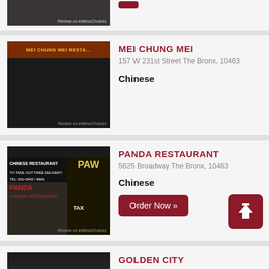[Figure (photo): Partial view of a restaurant storefront photo (top of page, cropped)]
[Figure (photo): Button: Order Now (partially visible at top right)]
[Figure (photo): Mei Chung Mei restaurant storefront photo]
MEI CHUNG MEI
157 W 231st Street The Bronx, 10463
Chinese
[Figure (photo): Panda Restaurant storefront photo]
PANDA RESTAURANT
5625 Broadway The Bronx, 10463
Chinese
[Figure (other): Order Now button]
[Figure (other): Upload/share icon (red square with up arrow)]
[Figure (photo): Golden City restaurant storefront photo (partially visible at bottom)]
GOLDEN CITY